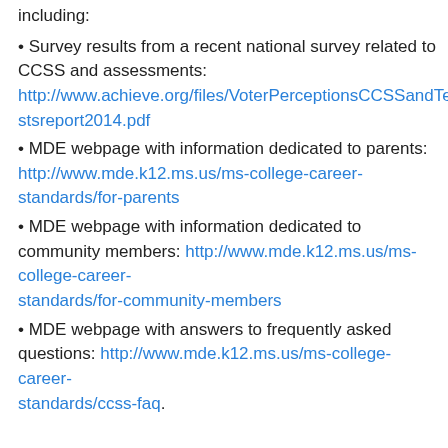including:
• Survey results from a recent national survey related to CCSS and assessments: http://www.achieve.org/files/VoterPerceptionsCCSSandTestsreport2014.pdf
• MDE webpage with information dedicated to parents: http://www.mde.k12.ms.us/ms-college-career-standards/for-parents
• MDE webpage with information dedicated to community members: http://www.mde.k12.ms.us/ms-college-career-standards/for-community-members
• MDE webpage with answers to frequently asked questions: http://www.mde.k12.ms.us/ms-college-career-standards/ccss-faq.